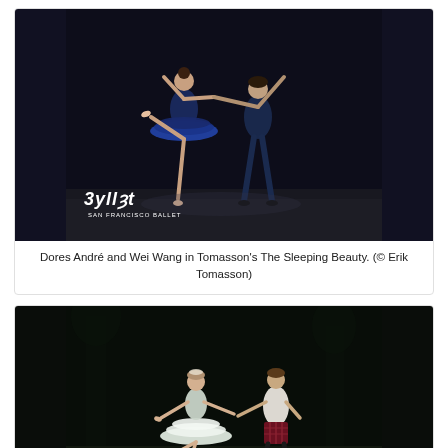[Figure (photo): Two ballet dancers on a dark stage — a female dancer in a blue tutu performing an arabesque extension while a male dancer in dark blue costume supports her. San Francisco Ballet logo visible in lower left corner.]
Dores André and Wei Wang in Tomasson's The Sleeping Beauty. (© Erik Tomasson)
[Figure (photo): Two ballet dancers on a dark wooded stage — a female dancer in white romantic tutu extending her arm toward a male dancer in Scottish costume with kilt. San Francisco Ballet logo visible in lower left corner.]